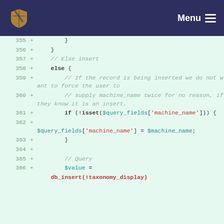Menu
[Figure (screenshot): Code diff view showing PHP code lines 355-366, with line numbers, plus signs indicating added lines, and syntax highlighting on a light green background.]